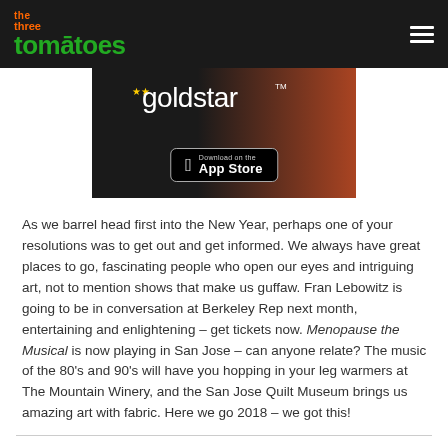the three tomatoes
[Figure (screenshot): Goldstar app advertisement banner with App Store download button]
As we barrel head first into the New Year, perhaps one of your resolutions was to get out and get informed. We always have great places to go, fascinating people who open our eyes and intriguing art, not to mention shows that make us guffaw. Fran Lebowitz is going to be in conversation at Berkeley Rep next month, entertaining and enlightening – get tickets now. Menopause the Musical is now playing in San Jose – can anyone relate? The music of the 80's and 90's will have you hopping in your leg warmers at The Mountain Winery, and the San Jose Quilt Museum brings us amazing art with fabric. Here we go 2018 – we got this!